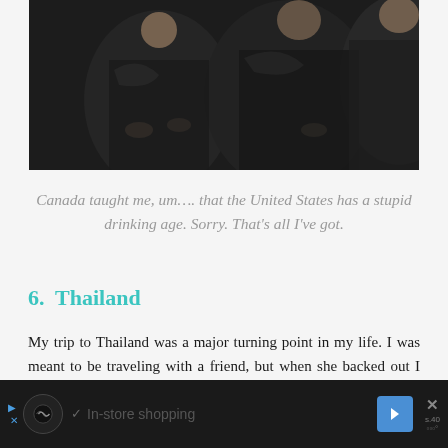[Figure (photo): Partial photo of people in formal/black attire, cropped showing torsos and hands]
Canada taught me, um…. that the United States has a stupid drinking age. Sorry. That's all I've got.
6.  Thailand
My trip to Thailand was a major turning point in my life. I was meant to be traveling with a friend, but when she backed out I soldiered on and at age 19 got on a plane headed for Bangkok. It was here that I fell in love with travel, Thailand, scuba diving, and my scuba diving instructor. My life changed in...
[Figure (screenshot): Advertisement banner at bottom: In-store shopping ad with navigation arrow icon]